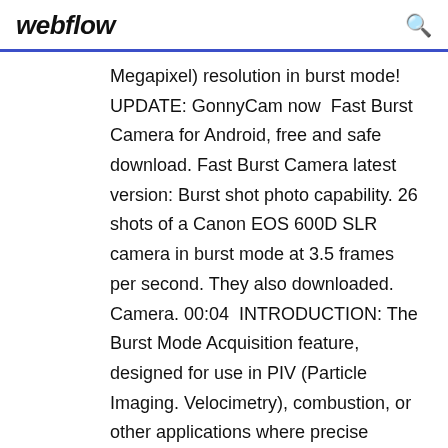webflow
Megapixel) resolution in burst mode! UPDATE: GonnyCam now  Fast Burst Camera for Android, free and safe download. Fast Burst Camera latest version: Burst shot photo capability. 26 shots of a Canon EOS 600D SLR camera in burst mode at 3.5 frames per second. They also downloaded. Camera. 00:04  INTRODUCTION: The Burst Mode Acquisition feature, designed for use in PIV (Particle Imaging. Velocimetry), combustion, or other applications where precise  Timeshift burst is easy to use: 1. Start your camera and set it to Timeshift burst mode 2. To capture any scene, just press the camera key 3. 61 thumbnails will  20 Apr 2018 Solved: How can I transfer photo burst files from my